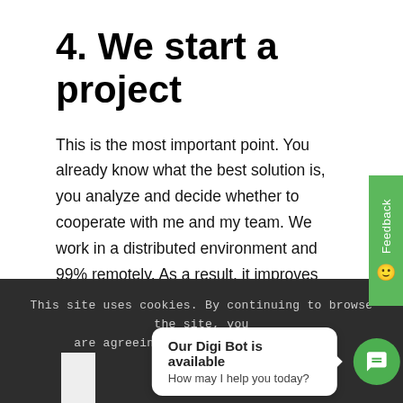4. We start a project
This is the most important point. You already know what the best solution is, you analyze and decide whether to cooperate with me and my team. We work in a distributed environment and 99% remotely. As a result, it improves work and gives many opportunities to take advantage of global knowledge. Our eCommerce Consulting services grow with our partners. You will see this advantage in the long term.
This site uses cookies. By continuing to browse the site, you are agreeing to our use of cookies.
Our Digi Bot is available
How may I help you today?